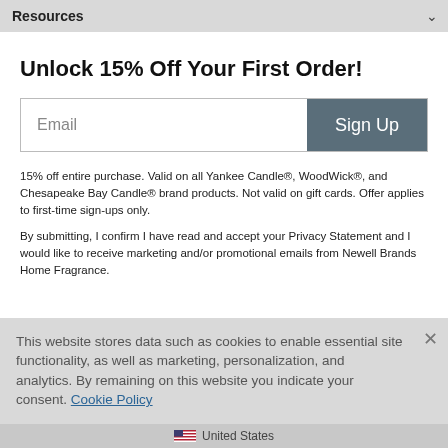Resources
Unlock 15% Off Your First Order!
Email
Sign Up
15% off entire purchase. Valid on all Yankee Candle®, WoodWick®, and Chesapeake Bay Candle® brand products. Not valid on gift cards. Offer applies to first-time sign-ups only.
By submitting, I confirm I have read and accept your Privacy Statement and I would like to receive marketing and/or promotional emails from Newell Brands Home Fragrance.
This website stores data such as cookies to enable essential site functionality, as well as marketing, personalization, and analytics. By remaining on this website you indicate your consent. Cookie Policy
United States